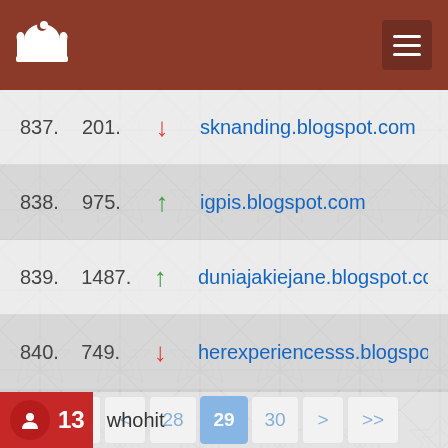Islamic blog ranking app header with logo and hamburger menu
837.  201.  ↓  sknanding.blogspot.com
838.  975.  ↑  igpis.blogspot.com
839.  1487.  ↑  duniajakiejane.blogspot.co
840.  749.  ↓  herexperiencesss.blogspot
| << | < | 28 | 29 | 30 | > | >> |
| --- | --- | --- | --- | --- | --- | --- |
13  whohit